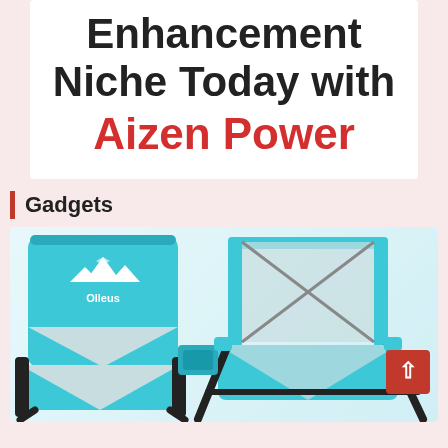Enhancement Niche Today with Aizen Power
Gadgets
[Figure (photo): Two teal/blue low-profile folding camping chairs side by side. The left chair shows the back with a mountain logo and 'Olleus' brand name. The right chair shows the front seat view with mesh fabric and a cup holder on the side. Both chairs have black metal frames.]